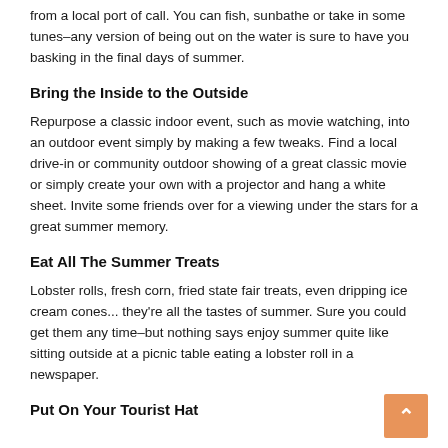from a local port of call. You can fish, sunbathe or take in some tunes–any version of being out on the water is sure to have you basking in the final days of summer.
Bring the Inside to the Outside
Repurpose a classic indoor event, such as movie watching, into an outdoor event simply by making a few tweaks. Find a local drive-in or community outdoor showing of a great classic movie or simply create your own with a projector and hang a white sheet. Invite some friends over for a viewing under the stars for a great summer memory.
Eat All The Summer Treats
Lobster rolls, fresh corn, fried state fair treats, even dripping ice cream cones... they're all the tastes of summer. Sure you could get them any time–but nothing says enjoy summer quite like sitting outside at a picnic table eating a lobster roll in a newspaper.
Put On Your Tourist Hat